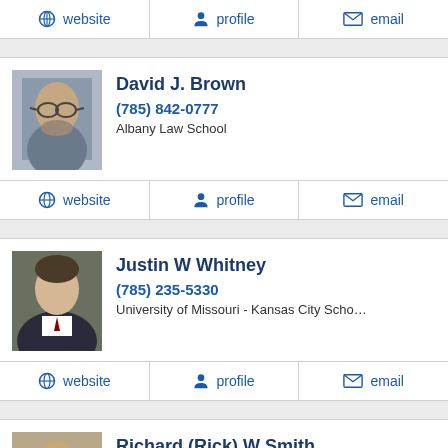website | profile | email (action bar top)
[Figure (photo): Headshot of David J. Brown, middle-aged man with glasses and beard]
David J. Brown
(785) 842-0777
Albany Law School
website | profile | email (action bar for David J. Brown)
[Figure (photo): Headshot of Justin W Whitney, man in suit]
Justin W Whitney
(785) 235-5330
University of Missouri - Kansas City School of Law and Was...
website | profile | email (action bar for Justin W Whitney)
Richard (Rick) W Smith